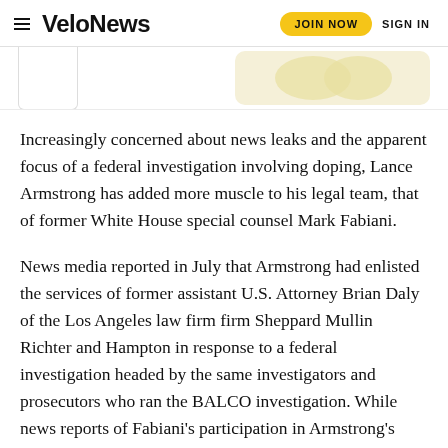VeloNews — JOIN NOW  SIGN IN
[Figure (illustration): Partial image strip showing a card/image element on the left and a yellow/cream colored decorative shape on the right]
Increasingly concerned about news leaks and the apparent focus of a federal investigation involving doping, Lance Armstrong has added more muscle to his legal team, that of former White House special counsel Mark Fabiani.
News media reported in July that Armstrong had enlisted the services of former assistant U.S. Attorney Brian Daly of the Los Angeles law firm firm Sheppard Mullin Richter and Hampton in response to a federal investigation headed by the same investigators and prosecutors who ran the BALCO investigation. While news reports of Fabiani's participation in Armstrong's defense team emerged only this week, Fabiani told VeloNews that he's been working with Armstrong since